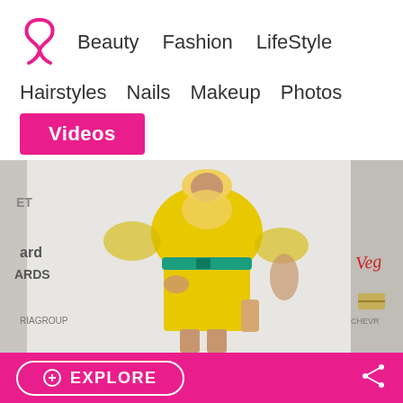Beauty | Fashion | LifeStyle | Hairstyles | Nails | Makeup | Photos | Videos
[Figure (photo): A woman in a yellow mini dress with sheer sleeves and a teal belt at what appears to be the Billboard Music Awards red carpet. Sponsors including Chevrolet are visible in the background.]
EXPLORE